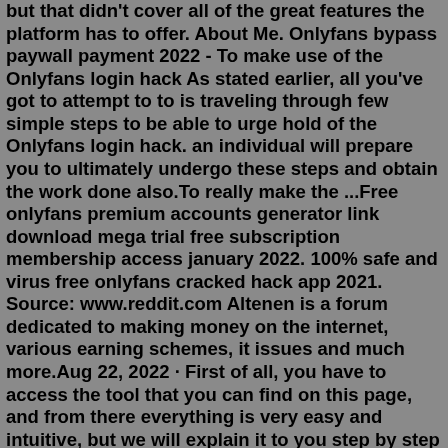but that didn't cover all of the great features the platform has to offer. About Me. Onlyfans bypass paywall payment 2022 - To make use of the Onlyfans login hack As stated earlier, all you've got to attempt to to is traveling through few simple steps to be able to urge hold of the Onlyfans login hack. an individual will prepare you to ultimately undergo these steps and obtain the work done also.To really make the ...Free onlyfans premium accounts generator link download mega trial free subscription membership access january 2022. 100% safe and virus free onlyfans cracked hack app 2021. Source: www.reddit.com Altenen is a forum dedicated to making money on the internet, various earning schemes, it issues and much more.Aug 22, 2022 · First of all, you have to access the tool that you can find on this page, and from there everything is very easy and intuitive, but we will explain it to you step by step right now: Click on ... Hence, there's an chance for several people to start utilizing an Onlyfans account. That's where in actuality the Onlyfans login hack works. With the